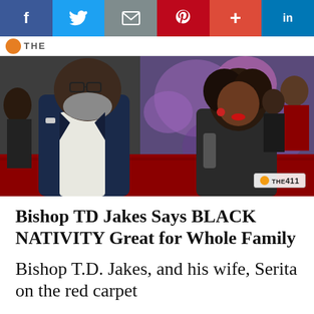f  [Twitter]  [Mail]  p  +  in
[Figure (photo): Bishop TD Jakes and his wife Serita on the red carpet at the Black Nativity premiere, with a THE 411 watermark in the lower right]
Bishop TD Jakes Says BLACK NATIVITY Great for Whole Family
Bishop T.D. Jakes, and his wife, Serita on the red carpet